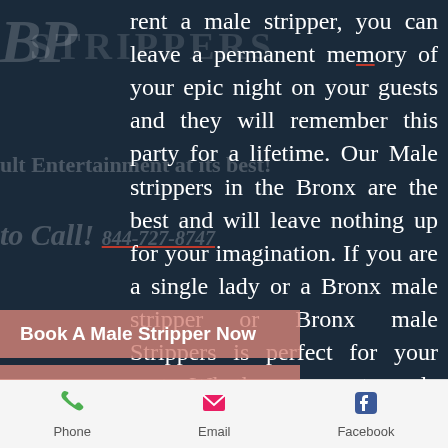[Figure (screenshot): Mobile website screenshot showing adult entertainment booking page for Bronx male strippers with dark navy background and white text]
rent a male stripper, you can leave a permanent memory of your epic night on your guests and they will remember this party for a lifetime. Our Male strippers in the Bronx are the best and will leave nothing up for your imagination. If you are a single lady or a Bronx male stripper or Bronx male Strippers is perfect for your party. Whether you want a male stripper for yourself or if you are a maid of honor getting a male stripper for the bachelorette, we can help you find the perfect male
Book A Male Stripper Now
Book A Female Stripper Now
Phone   Email   Facebook